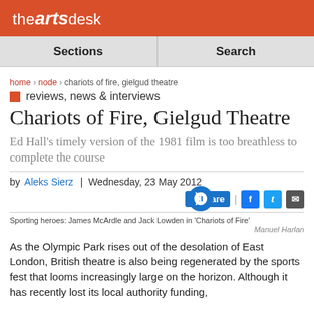the arts desk
Sections | Search
home › node › chariots of fire, gielgud theatre
reviews, news & interviews
Chariots of Fire, Gielgud Theatre
Ed Hall's timely version of the 1981 film is too breathless to complete the course
by Aleks Sierz | Wednesday, 23 May 2012
Sporting heroes: James McArdle and Jack Lowden in 'Chariots of Fire'
Manuel Harlan
As the Olympic Park rises out of the desolation of East London, British theatre is also being regenerated by the sports fest that looms increasingly large on the horizon. Although it has recently lost its local authority funding,